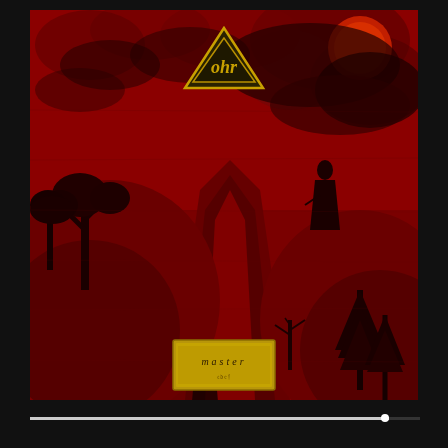[Figure (illustration): Album cover art for what appears to be a metal band called 'OHR'. Deep red and black tones dominate the image. A dramatic landscape scene with rocky cliffs, gnarled trees, pine trees, swirling dark clouds, and a red sun or moon in the upper right. A robed figure stands atop the cliff. Two smaller shadowy figures appear lower in the scene. A yellow triangle logo with the band name in gothic script sits at the top center. A gold/yellow rectangular label with gothic text reading 'master' appears near the bottom center of the artwork.]